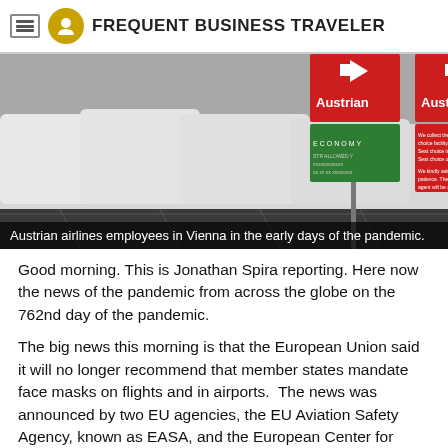FREQUENT BUSINESS TRAVELER
[Figure (photo): Austrian airlines check-in counters with red and green signs showing 'Austrian', 'Economy', and 'Business' class lanes, showing employees at desks in an airport, early pandemic days in Vienna.]
Austrian airlines employees in Vienna in the early days of the pandemic.
Good morning. This is Jonathan Spira reporting. Here now the news of the pandemic from across the globe on the 762nd day of the pandemic.
The big news this morning is that the European Union said it will no longer recommend that member states mandate face masks on flights and in airports.  The news was announced by two EU agencies, the EU Aviation Safety Agency, known as EASA, and the European Center for Disease Prevention and Control.
The change goes into effect on Monday.
“For passengers and aircrews, this is a big step forward in the